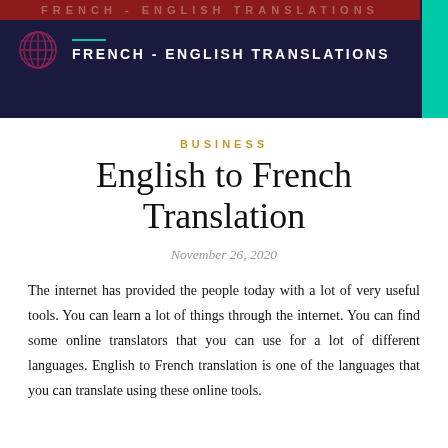[Figure (other): Website header banner with dark navy background, red top bar with faded 'FRENCH - ENGLISH TRANSLATIONS' text, globe/grid logo icon, teal accent line, white bold text 'FRENCH - ENGLISH TRANSLATIONS', and teal vertical bar on right]
BUSINESS
English to French Translation
November 26, 2020
The internet has provided the people today with a lot of very useful tools. You can learn a lot of things through the internet. You can find some online translators that you can use for a lot of different languages. English to French translation is one of the languages that you can translate using these online tools.